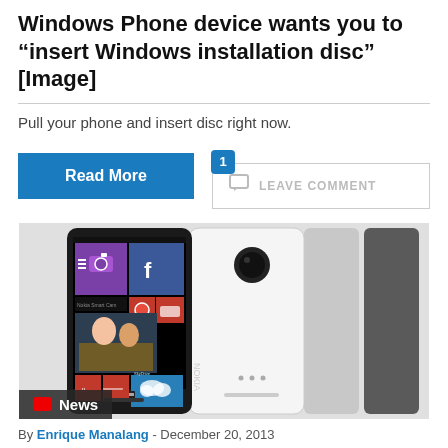Windows Phone device wants you to “insert Windows installation disc” [Image]
Pull your phone and insert disc right now.
Read More
1  LEAVE COMMENT
[Figure (photo): Nokia Windows Phone device shown from front and back, with Windows Phone tiles visible on screen]
News
By Enrique Manalang - December 20, 2013
Windows Phone 8.1 will include Siri-like Cortana and new